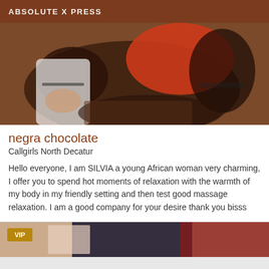ABSOLUTE X PRESS
[Figure (photo): Close-up photo of a person wearing a red top, lying on a brown surface, photographed from behind/side angle]
negra chocolate
Callgirls North Decatur
Hello everyone, I am SILVIA a young African woman very charming, I offer you to spend hot moments of relaxation with the warmth of my body in my friendly setting and then test good massage relaxation. I am a good company for your desire thank you bisss
[Figure (photo): Bottom partial photo showing person in dark outfit with VIP badge overlay]